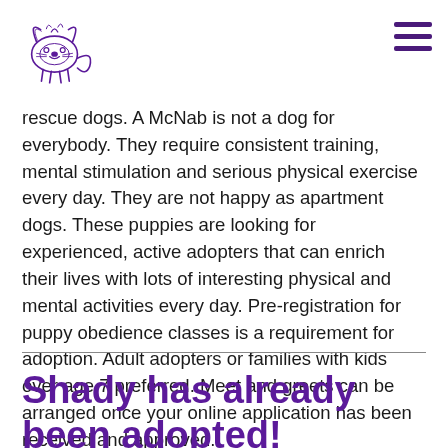[Logo: animal rescue organization] [Hamburger menu icon]
rescue dogs. A McNab is not a dog for everybody. They require consistent training, mental stimulation and serious physical exercise every day. They are not happy as apartment dogs. These puppies are looking for experienced, active adopters that can enrich their lives with lots of interesting physical and mental activities every day. Pre-registration for puppy obedience classes is a requirement for adoption. Adult adopters or families with kids over age 7 preferred. Meet and greets can be arranged once your online application has been received and approved.
Shady has already been adopted!